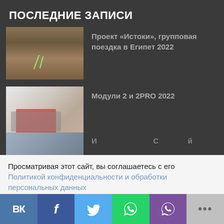ПОСЛЕДНИЕ ЗАПИСИ
[Figure (photo): Thumbnail image of a pyramid in Egypt]
Проект «Истоки», групповая поездка в Египет 2022
[Figure (photo): Thumbnail image of notebooks and papers on a desk]
Модули 2 и 2PRO 2022
[Figure (photo): Partial thumbnail of a third entry (cropped at bottom)]
Просматривая этот сайт, вы соглашаетесь с его
Политикой конфиденциальности и обработки персональных данных